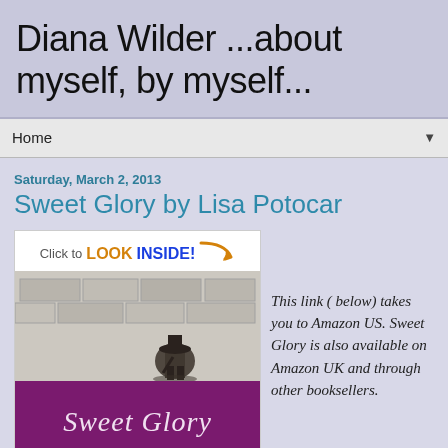Diana Wilder ...about myself, by myself...
Home
Saturday, March 2, 2013
Sweet Glory by Lisa Potocar
[Figure (illustration): Book cover for 'Sweet Glory' by Lisa Potocar with Amazon 'Click to LOOK INSIDE!' badge, a pencil sketch illustration, and purple band with cursive 'Sweet Glory' text]
This link ( below) takes you to Amazon US. Sweet Glory is also available on Amazon UK and through other booksellers.